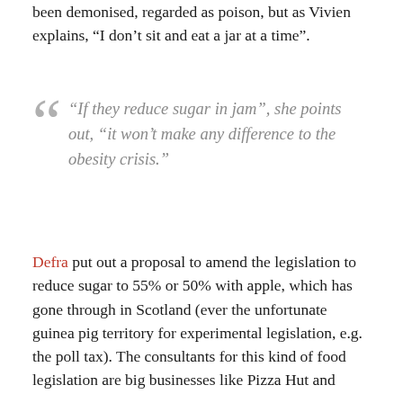been demonised, regarded as poison, but as Vivien explains, “I don’t sit and eat a jar at a time”.
“If they reduce sugar in jam”, she points out, “it won’t make any difference to the obesity crisis.”
Defra put out a proposal to amend the legislation to reduce sugar to 55% or 50% with apple, which has gone through in Scotland (ever the unfortunate guinea pig territory for experimental legislation, e.g. the poll tax). The consultants for this kind of food legislation are big businesses like Pizza Hut and...